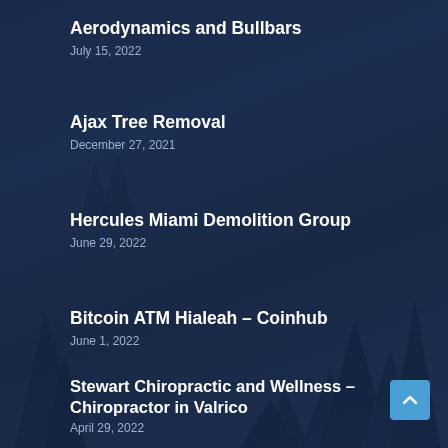Aerodynamics and Bullbars
July 15, 2022
Ajax Tree Removal
December 27, 2021
Hercules Miami Demolition Group
June 29, 2022
Bitcoin ATM Hialeah – Coinhub
June 1, 2022
Stewart Chiropractic and Wellness – Chiropractor in Valrico
April 29, 2022